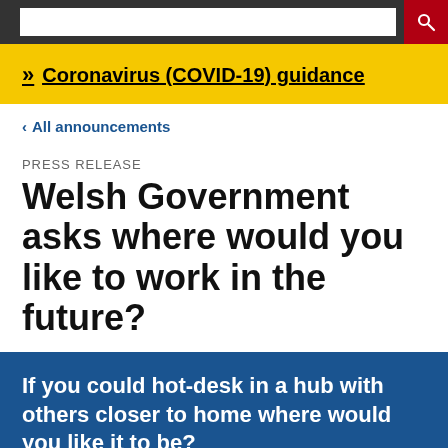Coronavirus (COVID-19) guidance
< All announcements
PRESS RELEASE
Welsh Government asks where would you like to work in the future?
If you could hot-desk in a hub with others closer to home where would you like it to be?